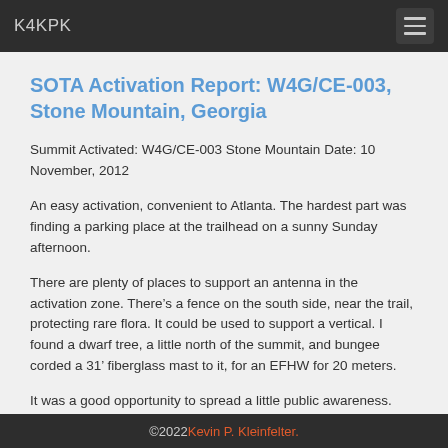K4KPK
SOTA Activation Report: W4G/CE-003, Stone Mountain, Georgia
Summit Activated: W4G/CE-003 Stone Mountain Date: 10 November, 2012
An easy activation, convenient to Atlanta. The hardest part was finding a parking place at the trailhead on a sunny Sunday afternoon.
There are plenty of places to support an antenna in the activation zone. There’s a fence on the south side, near the trail, protecting rare flora. It could be used to support a vertical. I found a dwarf tree, a little north of the summit, and bungee corded a 31’ fiberglass mast to it, for an EFHW for 20 meters.
It was a good opportunity to spread a little public awareness.
©2022 Kevin P. Kleinfelter.